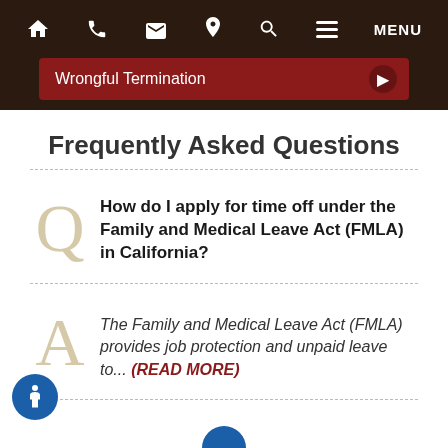[Figure (screenshot): Navigation bar with home, phone, email, location, search, menu icons on dark brown background]
[Figure (screenshot): Dropdown selector showing 'Wrongful Termination' on dark red background with arrow button]
Frequently Asked Questions
Q
How do I apply for time off under the Family and Medical Leave Act (FMLA) in California?
A
The Family and Medical Leave Act (FMLA) provides job protection and unpaid leave to... (READ MORE)